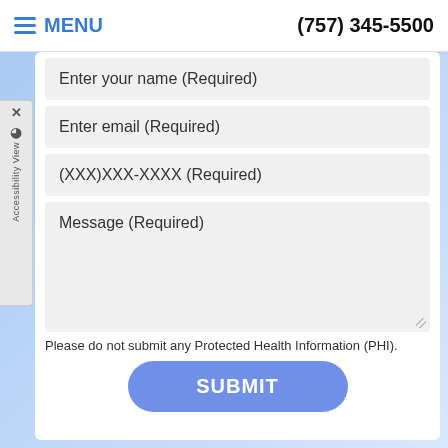Send us an Email Today!
MENU   (757) 345-5500
Enter your name (Required)
Enter email (Required)
(XXX)XXX-XXXX (Required)
Message (Required)
Please do not submit any Protected Health Information (PHI).
SUBMIT